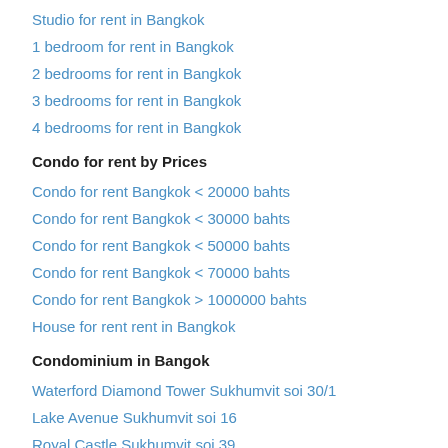Studio for rent in Bangkok
1 bedroom for rent in Bangkok
2 bedrooms for rent in Bangkok
3 bedrooms for rent in Bangkok
4 bedrooms for rent in Bangkok
Condo for rent by Prices
Condo for rent Bangkok < 20000 bahts
Condo for rent Bangkok < 30000 bahts
Condo for rent Bangkok < 50000 bahts
Condo for rent Bangkok < 70000 bahts
Condo for rent Bangkok > 1000000 bahts
House for rent rent in Bangkok
Condominium in Bangok
Waterford Diamond Tower Sukhumvit soi 30/1
Lake Avenue Sukhumvit soi 16
Royal Castle Sukhumvit soi 39
Moon Tower Sukhumvit soi 59
Life Sukhumvit 65 Sukhumvit soi 65
More condos
Popular Search